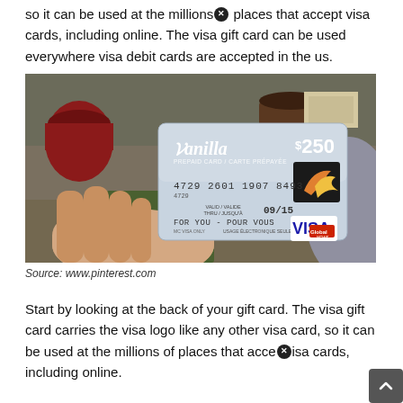so it can be used at the millions of places that accept visa cards, including online. The visa gift card can be used everywhere visa debit cards are accepted in the us.
[Figure (photo): A hand holding a Vanilla Visa Prepaid Card / Carte Prépayée showing $250 value, card number 4729 2601 1907 8493, expiry 09/15, FOR YOU - POUR VOUS, with VISA Global logo. Background shows mugs and a desk setting.]
Source: www.pinterest.com
Start by looking at the back of your gift card. The visa gift card carries the visa logo like any other visa card, so it can be used at the millions of places that accept visa cards, including online.